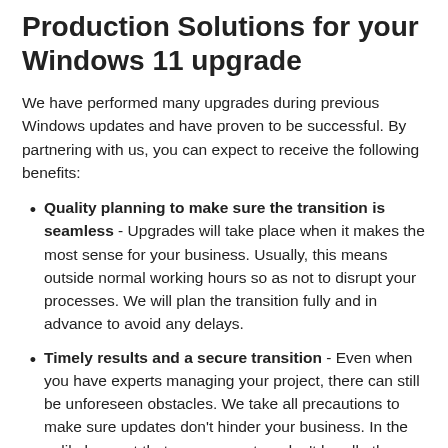Production Solutions for your Windows 11 upgrade
We have performed many upgrades during previous Windows updates and have proven to be successful. By partnering with us, you can expect to receive the following benefits:
Quality planning to make sure the transition is seamless - Upgrades will take place when it makes the most sense for your business. Usually, this means outside normal working hours so as not to disrupt your processes. We will plan the transition fully and in advance to avoid any delays.
Timely results and a secure transition - Even when you have experts managing your project, there can still be unforeseen obstacles. We take all precautions to make sure updates don't hinder your business. In the unlikely event that your computers don't handle the upgrade well, we will